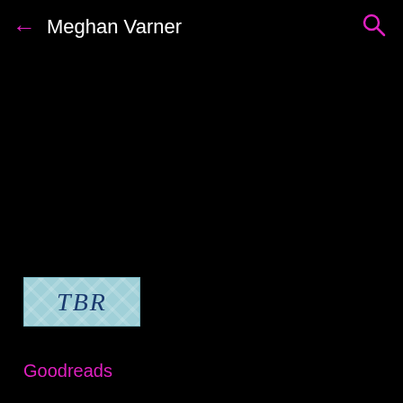Meghan Varner
[Figure (illustration): TBR shelf label image with light blue diamond pattern background and dark blue italic serif text reading 'TBR']
Goodreads